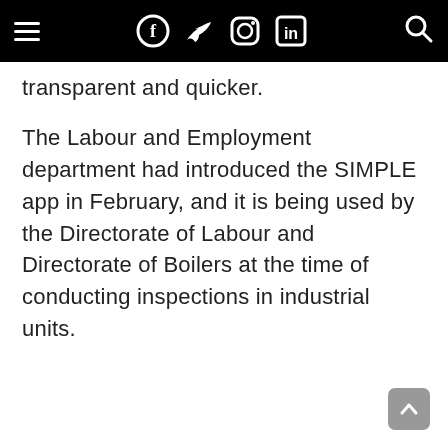Navigation bar with hamburger menu, Facebook, Twitter, Instagram, LinkedIn icons, and search icon
transparent and quicker.
The Labour and Employment department had introduced the SIMPLE app in February, and it is being used by the Directorate of Labour and Directorate of Boilers at the time of conducting inspections in industrial units.